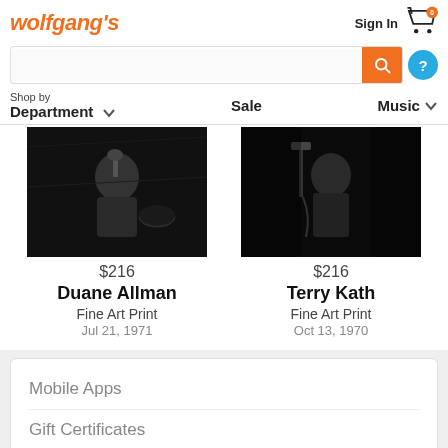wolfgang's
Sign In
[Figure (screenshot): Shopping cart icon with 0 badge]
[Figure (screenshot): Search bar with orange search button and blue help button]
Shop by Department  Sale  Music
[Figure (photo): Black and white photo of Duane Allman]
$216
Duane Allman
Fine Art Print
Jul 21, 1971
[Figure (photo): Black and white photo of Terry Kath]
$216
Terry Kath
Fine Art Print
Oct 13, 1970
Mobile Apps
Gift Certificates
Newsletter Signup